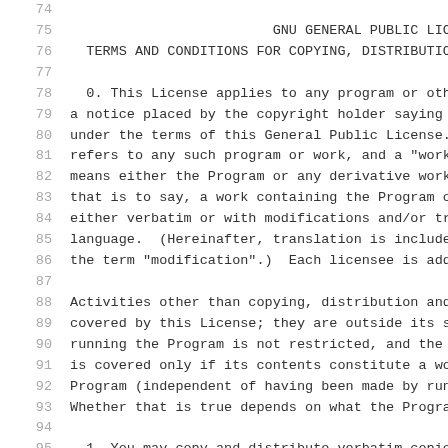74
75    GNU GENERAL PUBLIC LICENSE
76    TERMS AND CONDITIONS FOR COPYING, DISTRIBUTI
77
78    0. This License applies to any program or othe
79  a notice placed by the copyright holder saying i
80  under the terms of this General Public License.
81  refers to any such program or work, and a "work
82  means either the Program or any derivative work
83  that is to say, a work containing the Program o
84  either verbatim or with modifications and/or tr
85  language.  (Hereinafter, translation is include
86  the term "modification".)  Each licensee is add
87
88  Activities other than copying, distribution and
89  covered by this License; they are outside its sc
90  running the Program is not restricted, and the o
91  is covered only if its contents constitute a wo
92  Program (independent of having been made by runn
93  Whether that is true depends on what the Program
94
95    1. You may copy and distribute verbatim copie